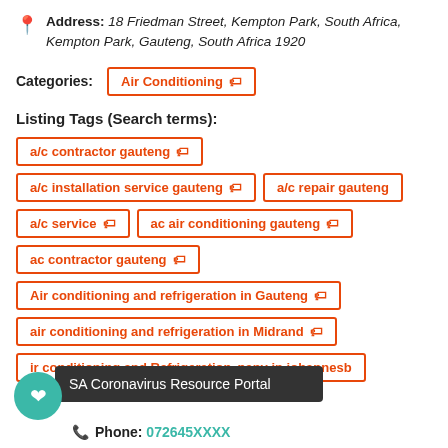Address: 18 Friedman Street, Kempton Park, South Africa, Kempton Park, Gauteng, South Africa 1920
Categories: Air Conditioning
Listing Tags (Search terms):
a/c contractor gauteng
a/c installation service gauteng
a/c repair gauteng
a/c service
ac air conditioning gauteng
ac contractor gauteng
Air conditioning and refrigeration in Gauteng
air conditioning and refrigeration in Midrand
Air conditioning and Refrigeration Company in johannesburg
SA Coronavirus Resource Portal
Phone: 072645XXXX